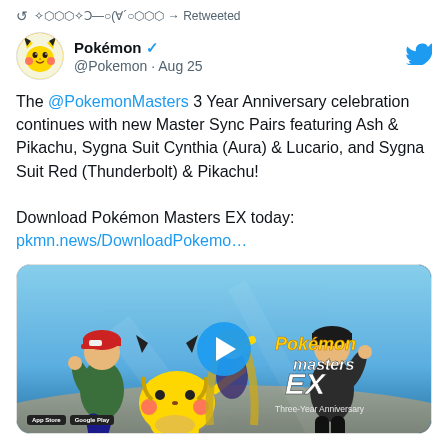↺ ✧⬡⬡⬡✧Ↄ—○(∀´○⬡⬡⬡ → Retweeted
Pokémon ✓ @Pokemon · Aug 25
The @PokemonMasters 3 Year Anniversary celebration continues with new Master Sync Pairs featuring Ash & Pikachu, Sygna Suit Cynthia (Aura) & Lucario, and Sygna Suit Red (Thunderbolt) & Pikachu!

Download Pokémon Masters EX today:
pkmn.news/DownloadPokemo…
[Figure (screenshot): Pokémon Masters EX promotional video thumbnail showing Ash, Pikachu, and other characters with a play button overlay and the Pokémon Masters EX Three-Year Anniversary logo]